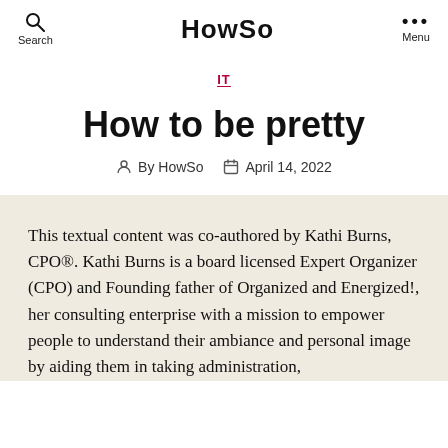Search  HowSo  Menu
IT
How to be pretty
By HowSo   April 14, 2022
This textual content was co-authored by Kathi Burns, CPO®. Kathi Burns is a board licensed Expert Organizer (CPO) and Founding father of Organized and Energized!, her consulting enterprise with a mission to empower people to understand their ambiance and personal image by aiding them in taking administration,